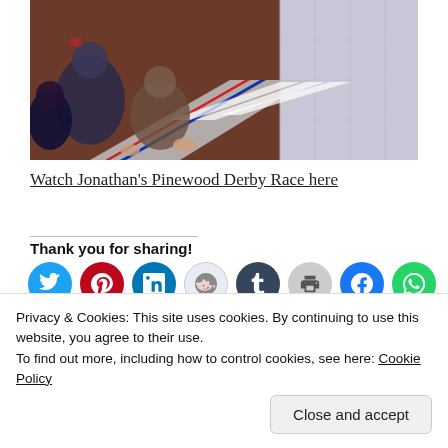[Figure (photo): Children sitting on floor watching a Pinewood Derby race track with red and blue stripe edges and white lane markers]
Watch Jonathan's Pinewood Derby Race here
Thank you for sharing!
[Figure (other): Row of social media share buttons: Twitter, Pinterest, LinkedIn, Reddit, Tumblr, Print, Facebook, WhatsApp]
Privacy & Cookies: This site uses cookies. By continuing to use this website, you agree to their use.
To find out more, including how to control cookies, see here: Cookie Policy
Close and accept